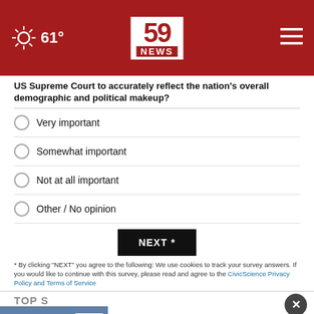59 NEWS | 61°
US Supreme Court to accurately reflect the nation's overall demographic and political makeup?
Very important
Somewhat important
Not at all important
Other / No opinion
NEXT *
* By clicking "NEXT" you agree to the following: We use cookies to track your survey answers. If you would like to continue with this survey, please read and agree to the CivicScience Privacy Policy and Terms of Service
TOP S
[Figure (photo): Advertisement for Raleigh General Hospital - The Only Level III Trauma Center in the Region with Click Here button]